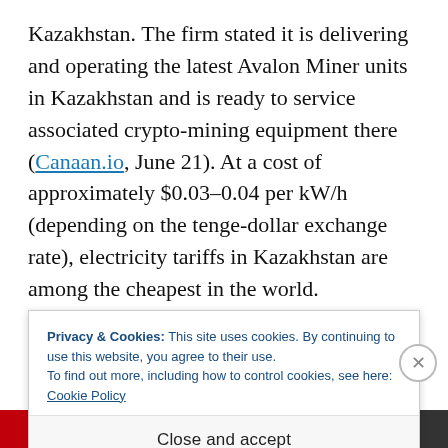Kazakhstan. The firm stated it is delivering and operating the latest Avalon Miner units in Kazakhstan and is ready to service associated crypto-mining equipment there (Canaan.io, June 21). At a cost of approximately $0.03–0.04 per kW/h (depending on the tenge-dollar exchange rate), electricity tariffs in Kazakhstan are among the cheapest in the world. Kazakhstan's largest crypto-mining rivals charge $0.06 per kW/h
Privacy & Cookies: This site uses cookies. By continuing to use this website, you agree to their use. To find out more, including how to control cookies, see here: Cookie Policy
Close and accept